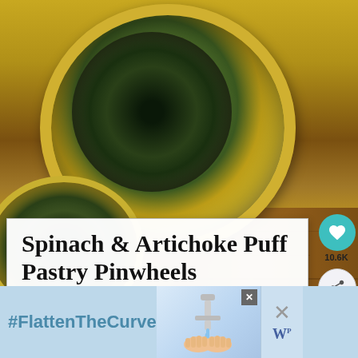[Figure (photo): Close-up food photograph of Spinach & Artichoke Puff Pastry Pinwheels showing golden puff pastry rolls filled with green spinach and artichoke mixture, sitting on a wooden board]
Spinach & Artichoke Puff Pastry Pinwheels
SAVORYEXPERIMENTS.COM
10.6K
WHAT'S NEXT → Pulled Pork Stuffed Pret...
[Figure (screenshot): Advertisement banner with #FlattenTheCurve text, faucet with water and hands washing image, close X button, and Windex-like product logo]